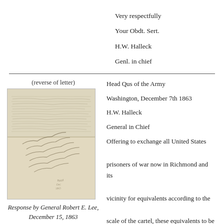Very respectfully
Your Obdt. Sert.
H.W. Halleck
Genl. in chief
(reverse of letter)
[Figure (photo): Photograph of the reverse side of a handwritten letter with faded cursive text]
Response by General Robert E. Lee, December 15, 1863
Head Qus of the Army
Washington, December 7th 1863
H.W. Halleck
General in Chief
Offering to exchange all United States prisoners of war now in Richmond and its vicinity for equivalents according to the scale of the cartel, these equivalents to be sent to City Point, leaving for future arrangements all questions in regard to the other prisoners held by either party.